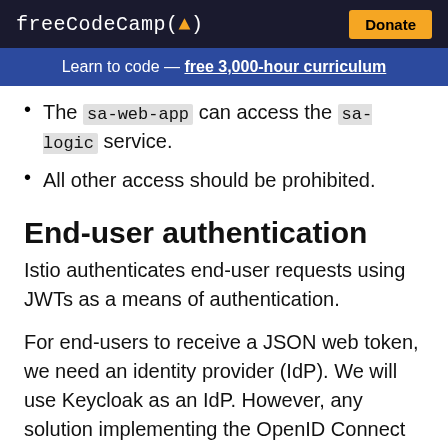freeCodeCamp (🔥)   Donate
Learn to code — free 3,000-hour curriculum
The sa-web-app can access the sa-logic service.
All other access should be prohibited.
End-user authentication
Istio authenticates end-user requests using JWTs as a means of authentication.
For end-users to receive a JSON web token, we need an identity provider (IdP). We will use Keycloak as an IdP. However, any solution implementing the OpenID Connect Discovery